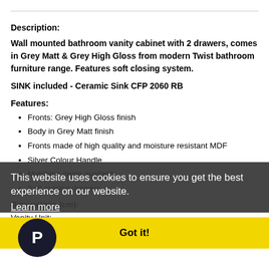Description:
Wall mounted bathroom vanity cabinet with 2 drawers, comes in Grey Matt & Grey High Gloss from modern Twist bathroom furniture range. Features soft closing system.
SINK included - Ceramic Sink CFP 2060 RB
Features:
Fronts: Grey High Gloss finish
Body in Grey Matt finish
Fronts made of high quality and moisture resistant MDF
Silver Colour Handle
Matching items available
Soft closing drawers
Dimensions (cm):
Vanity Unit:
S: (H) x 60 cm (W) x 39 cm (D)
Weight: 16 kg
This website uses cookies to ensure you get the best experience on our website.
Learn more
Got it!